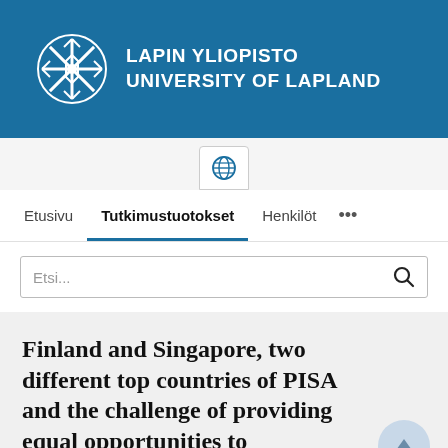[Figure (logo): Lapin Yliopisto / University of Lapland logo with snowflake icon on blue background banner]
LAPIN YLIOPISTO
UNIVERSITY OF LAPLAND
Etusivu   Tutkimustuotokset   Henkilöt   ...
Etsi...
Finland and Singapore, two different top countries of PISA and the challenge of providing equal opportunities to immigrant students